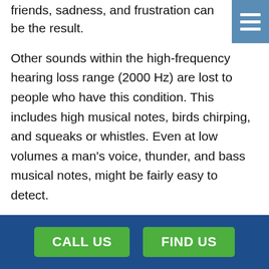friends, sadness, and frustration can be the result.
Other sounds within the high-frequency hearing loss range (2000 Hz) are lost to people who have this condition. This includes high musical notes, birds chirping, and squeaks or whistles. Even at low volumes a man's voice, thunder, and bass musical notes, might be fairly easy to detect.
Reasons For High-Frequency Hearing Loss
Frequently imperceptible at first, high-frequency hearing loss, the most common type of hearing loss, can creep up on you as you get older. In addition to aging, too much noise exposure, certain medications and numerous medical problems like cardiovascular
CALL US   FIND US